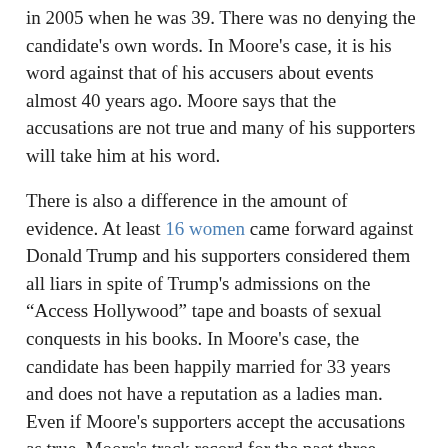in 2005 when he was 39. There was no denying the candidate's own words. In Moore's case, it is his word against that of his accusers about events almost 40 years ago. Moore says that the accusations are not true and many of his supporters will take him at his word.
There is also a difference in the amount of evidence. At least 16 women came forward against Donald Trump and his supporters considered them all liars in spite of Trump's admissions on the "Access Hollywood" tape and boasts of sexual conquests in his books. In Moore's case, the candidate has been happily married for 33 years and does not have a reputation as a ladies man. Even if Moore's supporters accept the accusations as true, Moore's track record for the past three decades gives them room to write off the incidents as youthful indiscretions that are not representative of his current character.
Finally, the argument could by made that voters looked the other way with Donald Trump because the possibility that Hillary Clinton would become president was simply to horrible to accept. A similar argument can be made that preserving the Republican majority in the Senate so vital that it is necessary to overlook